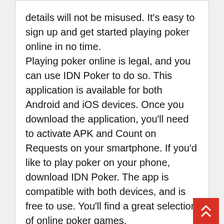details will not be misused. It's easy to sign up and get started playing poker online in no time.
Playing poker online is legal, and you can use IDN Poker to do so. This application is available for both Android and iOS devices. Once you download the application, you'll need to activate APK and Count on Requests on your smartphone. If you'd like to play poker on your phone, download IDN Poker. The app is compatible with both devices, and is free to use. You'll find a great selection of online poker games.
14 May, 2022   (0) Comments
By admin   Gambling